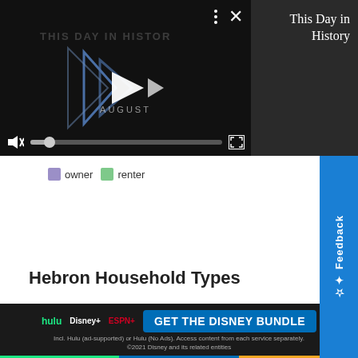[Figure (screenshot): Video player showing 'This Day in History' with play controls, mute icon, seek bar, and fullscreen button. Black background with geometric play button graphics and 'AUGUST' text.]
This Day in History
[Figure (infographic): Legend showing owner (purple swatch) and renter (green swatch) color codes for a chart below.]
Hebron Household Types
| Type | Owner ▲ | Renter |
| --- | --- | --- |
| Non Family | 58.4% | 41.6% |
[Figure (screenshot): Advertisement for Disney Bundle featuring Hulu, Disney+, and ESPN+ logos with 'GET THE DISNEY BUNDLE' CTA button.]